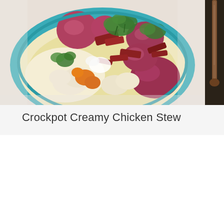[Figure (photo): A blue ceramic bowl filled with creamy chicken stew containing red potatoes, chunks of chicken, carrots, bacon pieces, and garnished with fresh cilantro/parsley. The bowl sits on a white surface. Partially visible on the right edge is another image (appears to be a wooden spoon or utensil on a dark background).]
Crockpot Creamy Chicken Stew